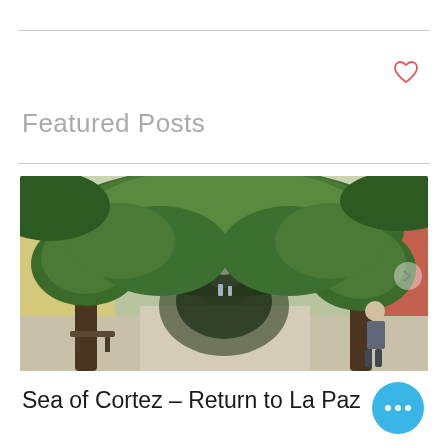Featured Posts
[Figure (photo): A tree-lined pedestrian walkway with green arching trees forming a tunnel, colonial-style buildings, benches, and a person walking in the foreground.]
Sea of Cortez – Return to La Paz